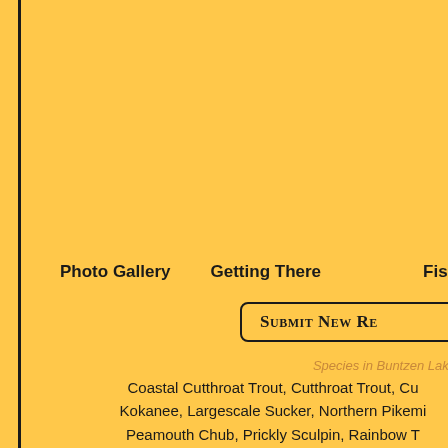Photo Gallery   Getting There   Fish
Submit New Re
Species in Buntzen Lake
Coastal Cutthroat Trout, Cutthroat Trout, Cu Kokanee, Largescale Sucker, Northern Pikemi Peamouth Chub, Prickly Sculpin, Rainbow T (General), Threespine St